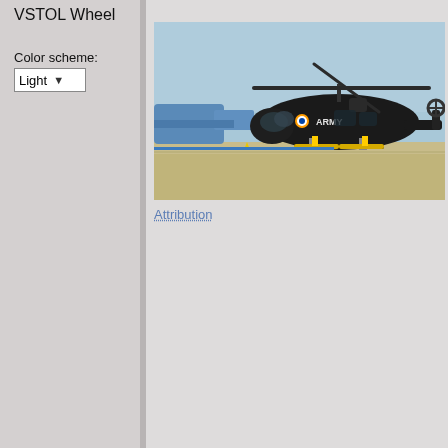VSTOL Wheel
Color scheme:
Light
[Figure (photo): A black Indian Army helicopter (marked 'ARMY') on a tarmac, with landing skids visible and rotor blades extended. A second aircraft is partially visible in the background on the left.]
Attribution